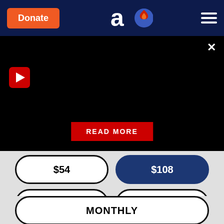[Figure (screenshot): Navigation bar with orange Donate button, logo (stylized 'a' with flame), and hamburger menu on dark navy background]
[Figure (screenshot): Dark/black video area with red play button (triangle) on left, close X button top-right, and red READ MORE button at bottom center]
$54
$108 (selected)
$1000
OTHER
MONTHLY
$10
$18
$100
OTHER